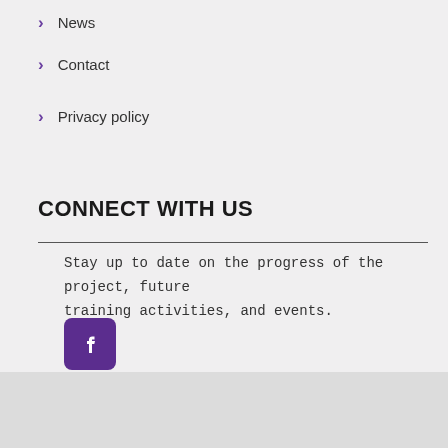News
Contact
Privacy policy
CONNECT WITH US
Stay up to date on the progress of the project, future training activities, and events.
[Figure (logo): Facebook icon — white f on purple rounded square background]
© 2021 Fight the Fright | Powered by Institute of Entrepreneurship Development (iED)